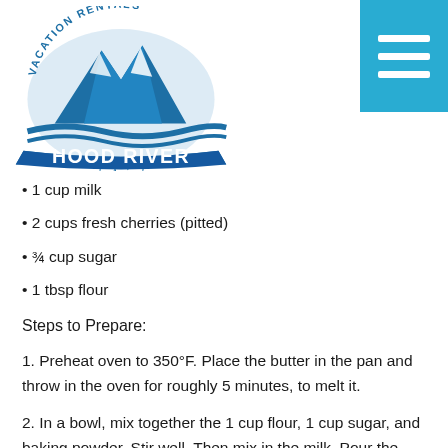[Figure (logo): Hood River Vacation Rentals by Arrived logo with mountain and river imagery in blue]
1 cup milk
2 cups fresh cherries (pitted)
¾ cup sugar
1 tbsp flour
Steps to Prepare:
1. Preheat oven to 350°F. Place the butter in the pan and throw in the oven for roughly 5 minutes, to melt it.
2. In a bowl, mix together the 1 cup flour, 1 cup sugar, and baking powder. Stir well. Then mix in the milk. Pour the batter into the pan on top of the melted butter. You want to pour it on top without actively mixing it in.
3. In another bowl, toss the cherries with the ¾ cups sugar and 1 tbsp flour. Pour the dusted cherries over the top of the batter.